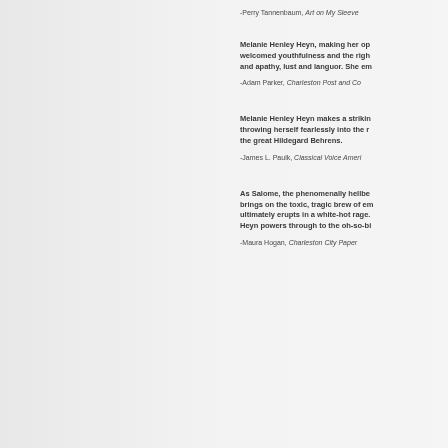-Perry Tannenbaum, Art on My Sleeve
Melanie Henley Heyn, making her op... welcomed youthfulness and the righ... and apathy, lust and languor. She em...
-Adam Parker, Charleston Post and Co...
Melanie Henley Heyn makes a strikin... throwing herself fearlessly into the r... the great Hildegard Behrens.
-James L. Paulk, Classical Voice Ameri...
As Salome, the phenomenally hellbe... brings on the toxic, tragic brew of em... ultimately erupts in a white-hot rage.... Heyn powers through to the oh-so-bi...
-Maura Hogan, Charleston City Paper